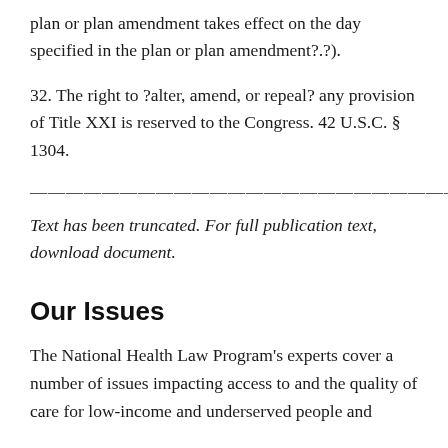plan or plan amendment takes effect on the day specified in the plan or plan amendment?.?).
32. The right to ?alter, amend, or repeal? any provision of Title XXI is reserved to the Congress. 42 U.S.C. § 1304.
——————————————————————————————-
Text has been truncated. For full publication text, download document.
Our Issues
The National Health Law Program's experts cover a number of issues impacting access to and the quality of care for low-income and underserved people and